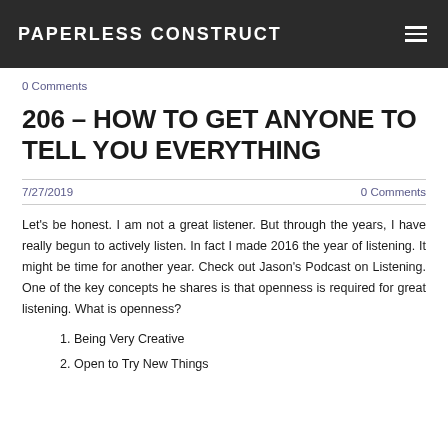PAPERLESS CONSTRUCT
0 Comments
206 – HOW TO GET ANYONE TO TELL YOU EVERYTHING
7/27/2019
0 Comments
Let's be honest. I am not a great listener. But through the years, I have really begun to actively listen. In fact I made 2016 the year of listening. It might be time for another year. Check out Jason's Podcast on Listening. One of the key concepts he shares is that openness is required for great listening. What is openness?
Being Very Creative
Open to Try New Things